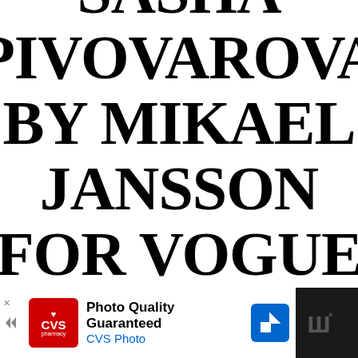SASHA PIVOVAROVA BY MIKAEL JANSSON FOR VOGUE PARIS
[Figure (screenshot): Advertisement banner at bottom of page: CVS pharmacy 'Photo Quality Guaranteed / CVS Photo' ad with navigation icon, on dark background strip]